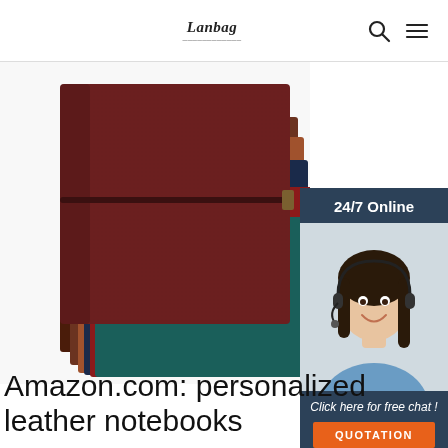Lanbag [logo with search and menu icons]
[Figure (photo): Stack of leather notebooks in various colors (dark red/burgundy on top, with brown, tan, navy blue, red, and teal visible beneath), held closed with an elastic band. Displayed on a white background.]
[Figure (infographic): Chat widget with dark blue background. Shows '24/7 Online' text at top, photo of a smiling woman with headset, italic text 'Click here for free chat!', and an orange button labeled 'QUOTATION'.]
Amazon.com: personalized leather notebooks